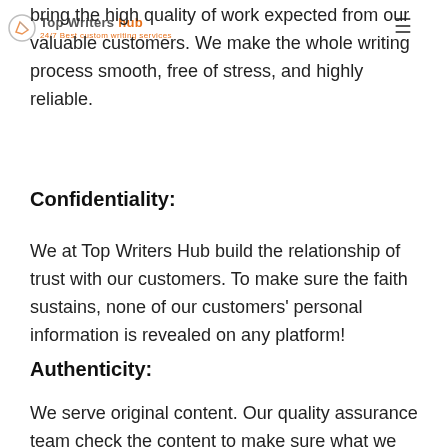Top Writers hub | 24/7 Best custom writing services
bring the high quality of work expected from our valuable customers. We make the whole writing process smooth, free of stress, and highly reliable.
Confidentiality:
We at Top Writers Hub build the relationship of trust with our customers. To make sure the faith sustains, none of our customers' personal information is revealed on any platform!
Authenticity:
We serve original content. Our quality assurance team check the content to make sure what we deliver is 100 percent original.